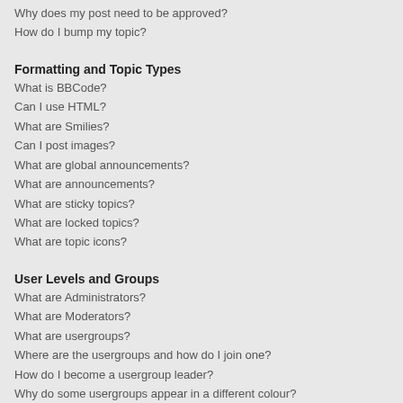Why does my post need to be approved?
How do I bump my topic?
Formatting and Topic Types
What is BBCode?
Can I use HTML?
What are Smilies?
Can I post images?
What are global announcements?
What are announcements?
What are sticky topics?
What are locked topics?
What are topic icons?
User Levels and Groups
What are Administrators?
What are Moderators?
What are usergroups?
Where are the usergroups and how do I join one?
How do I become a usergroup leader?
Why do some usergroups appear in a different colour?
What is a “Default usergroup”?
What is “The team” link?
Private Messaging
I cannot send private messages!